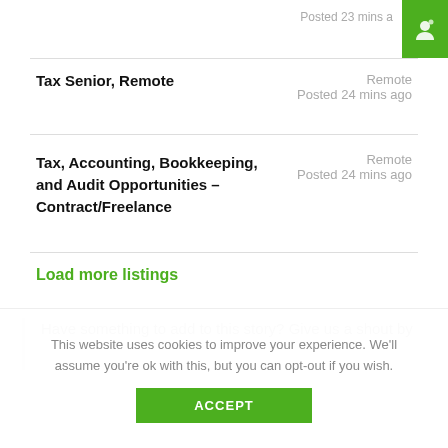Posted 23 mins a
Tax Senior, Remote — Remote — Posted 24 mins ago
Tax, Accounting, Bookkeeping, and Audit Opportunities – Contract/Freelance — Remote — Posted 24 mins ago
Load more listings
Have something to add to this story? Give us a shout by
This website uses cookies to improve your experience. We'll assume you're ok with this, but you can opt-out if you wish.
ACCEPT